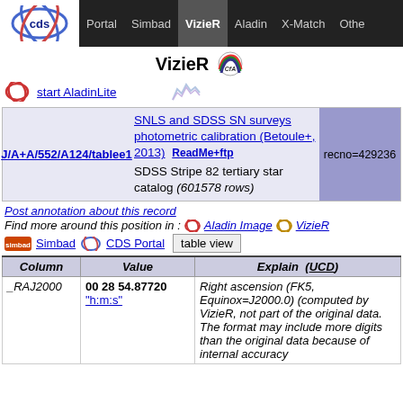Portal | Simbad | VizieR | Aladin | X-Match | Other
VizieR CFA
start AladinLite
J/A+A/552/A124/tablee1  SNLS and SDSS SN surveys photometric calibration (Betoule+, 2013)  ReadMe+ftp  SDSS Stripe 82 tertiary star catalog (601578 rows)  recno=429236
Post annotation about this record
Find more around this position in :   Aladin Image   VizieR
Simbad   CDS Portal   table view
| Column | Value | Explain  (UCD) |
| --- | --- | --- |
| _RAJ2000 | 00 28 54.87720  "h:m:s" | Right ascension (FK5, Equinox=J2000.0) (computed by VizieR, not part of the original data. The format may include more digits than the original data because of internal accuracy |